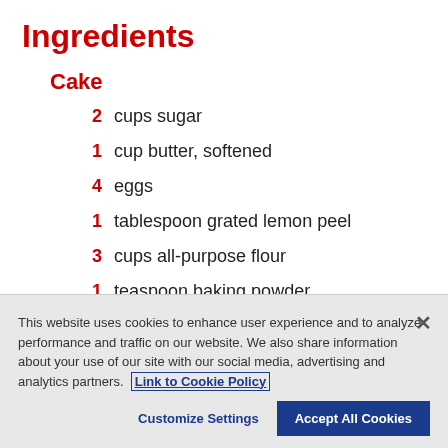Ingredients
Cake
2  cups sugar
1  cup butter, softened
4  eggs
1  tablespoon grated lemon peel
3  cups all-purpose flour
1  teaspoon baking powder
This website uses cookies to enhance user experience and to analyze performance and traffic on our website. We also share information about your use of our site with our social media, advertising and analytics partners. Link to Cookie Policy
Customize Settings  Accept All Cookies